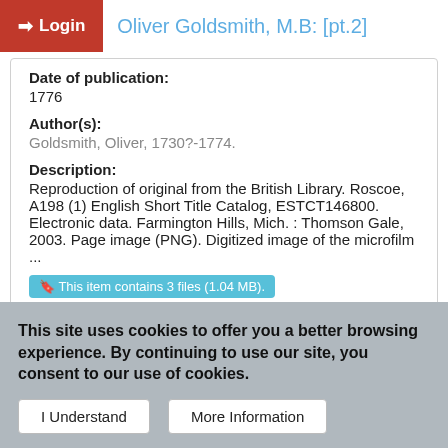Login | Oliver Goldsmith, M.B: [pt.2]
Date of publication:
1776
Author(s):
Goldsmith, Oliver, 1730?-1774.
Description:
Reproduction of original from the British Library. Roscoe, A198 (1) English Short Title Catalog, ESTCT146800. Electronic data. Farmington Hills, Mich. : Thomson Gale, 2003. Page image (PNG). Digitized image of the microfilm ...
This item contains 3 files (1.04 MB).
Publicly Available
This site uses cookies to offer you a better browsing experience. By continuing to use our site, you consent to our use of cookies.